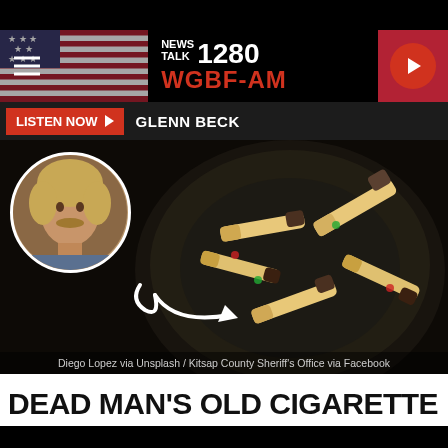NEWS TALK 1280 WGBF-AM
LISTEN NOW ▶  GLENN BECK
[Figure (photo): Ashtray full of cigarette butts with a circular inset portrait photo of a man with blonde hair and mustache, and a white arrow annotation pointing to one cigarette butt. Text overlay: Diego Lopez via Unsplash / Kitsap County Sheriff's Office via Facebook]
Diego Lopez via Unsplash / Kitsap County Sheriff's Office via Facebook
DEAD MAN'S OLD CIGARETTE